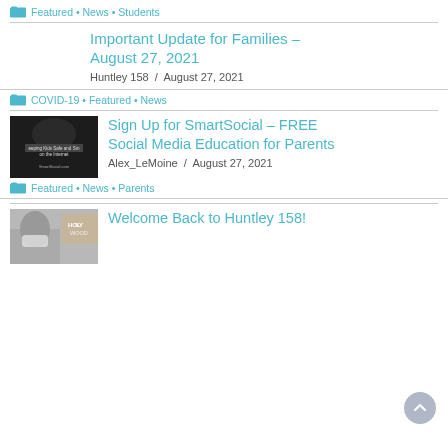Featured • News • Students
Important Update for Families – August 27, 2021
Huntley 158  /  August 27, 2021
COVID-19 • Featured • News
[Figure (photo): Black and white image with text 'eeping Kids Safe and Sm on the Internet' and 'SmartSocial.com']
Sign Up for SmartSocial – FREE Social Media Education for Parents
Alex_LeMoine  /  August 27, 2021
Featured • News • Parents
[Figure (photo): Person wearing a mask, Hollywood sign visible in background]
Welcome Back to Huntley 158!